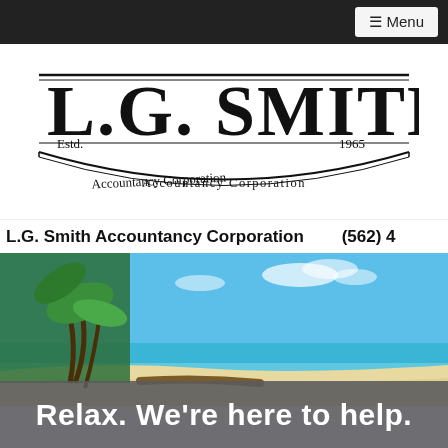≡ Menu
[Figure (logo): L.G. Smith Accountancy Corporation logo with decorative serif lettering, established 1965]
L.G. Smith Accountancy Corporation   (562) 4
[Figure (photo): Tropical beach scene with palm trees leaning over white sand, turquoise ocean water, and clear blue sky]
Relax. We're here to help.